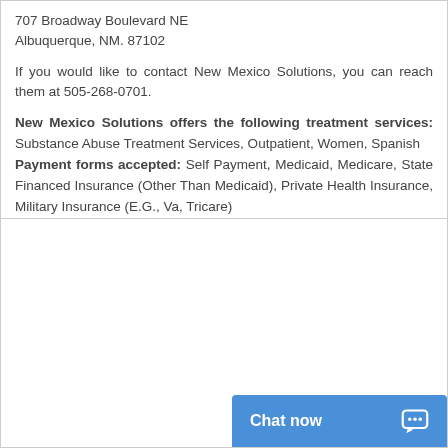707 Broadway Boulevard NE
Albuquerque, NM. 87102
If you would like to contact New Mexico Solutions, you can reach them at 505-268-0701.
New Mexico Solutions offers the following treatment services: Substance Abuse Treatment Services, Outpatient, Women, Spanish
Payment forms accepted: Self Payment, Medicaid, Medicare, State Financed Insurance (Other Than Medicaid), Private Health Insurance, Military Insurance (E.G., Va, Tricare)
Chat now